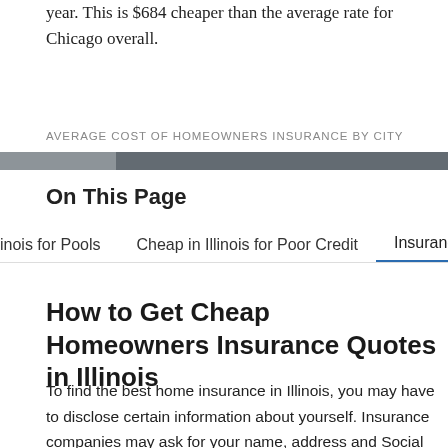year. This is $684 cheaper than the average rate for Chicago overall.
AVERAGE COST OF HOMEOWNERS INSURANCE BY CITY
[Figure (other): A horizontal progress/navigation bar with grey segments indicating different cities]
On This Page
inois for Pools    Cheap in Illinois for Poor Credit    Insurance
How to Get Cheap Homeowners Insurance Quotes in Illinois
To find the best home insurance in Illinois, you may have to disclose certain information about yourself. Insurance companies may ask for your name, address and Social Security number. Aside from these, carriers may also require pieces of information related to your property to calculate the cost of your annual premium. They may ask you about